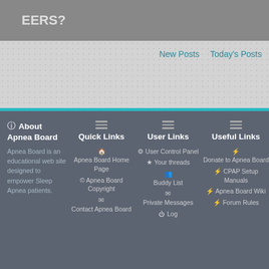EERS?
New Posts   Today's Posts
About Apnea Board
Quick Links
User Links
Useful Links
Apnea Board is an educational web site designed to empower Sleep Apnea patients.
Apnea Board Home Page
© Apnea Board Copyright
Contact Apnea Board
User Control Panel
Your threads
Buddy List
Private Messages
Log
Donate to Apnea Board
CPAP Setup Manuals
Apnea Board Wiki
Forum Rules